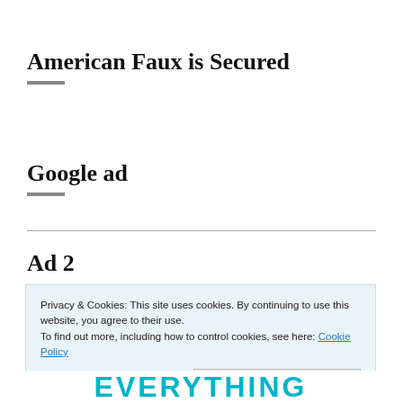American Faux is Secured
Google ad
Ad 2
Privacy & Cookies: This site uses cookies. By continuing to use this website, you agree to their use.
To find out more, including how to control cookies, see here: Cookie Policy
Close and accept
[Figure (other): Partial advertisement showing the word EVERYTHING in large teal bold letters]